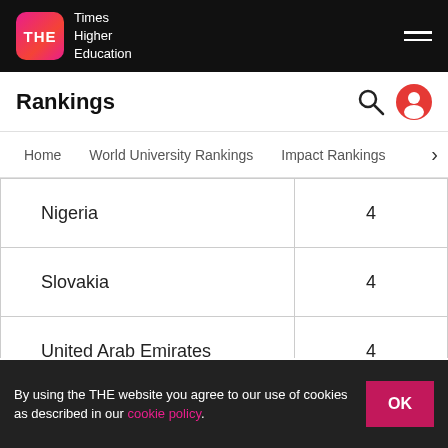Times Higher Education
Rankings
Home   World University Rankings   Impact Rankings
| Country | Count |
| --- | --- |
| Nigeria | 4 |
| Slovakia | 4 |
| United Arab Emirates | 4 |
| Estonia | 3 |
| Latvia | 3 |
By using the THE website you agree to our use of cookies as described in our cookie policy.